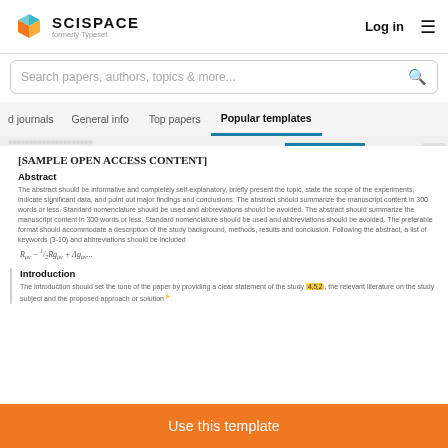SCISPACE formerly Typeset | Log in
Search papers, authors, topics & more...
d journals | General info | Top papers | Popular templates
[SAMPLE OPEN ACCESS CONTENT]
Abstract
The abstract should be informative and completely self-explanatory, briefly present the topic, state the scope of the experiments, indicate significant data, and point out major findings and conclusions. The abstract should summarize the manuscript content in 300 words or less. Standard nomenclature should be used and abbreviations should be avoided. The abstract should summarize the manuscript content in 300 words or less. Standard nomenclature should be used and abbreviations should be avoided. The preferable format should accommodate a description of the study background, methods, results and conclusion. Following the abstract, a list of keywords (3-10) and abbreviations should be included
Introduction
The introduction should set the tone of the paper by providing a clear statement of the study [4,5,2], the relevant literature on the study subject and the proposed approach or solution.
Use this template